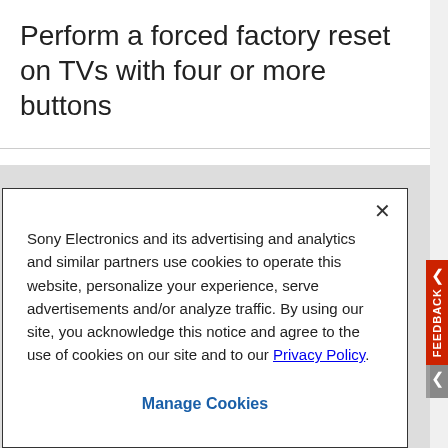Perform a forced factory reset on TVs with four or more buttons
[Figure (screenshot): Cookie consent modal popup over a Sony Electronics support page. Modal contains text about cookies and advertising partners, a Privacy Policy link, a close (×) button, and a Manage Cookies link. A red FEEDBACK tab is visible on the right side.]
Sony Electronics and its advertising and analytics and similar partners use cookies to operate this website, personalize your experience, serve advertisements and/or analyze traffic. By using our site, you acknowledge this notice and agree to the use of cookies on our site and to our Privacy Policy.
Manage Cookies